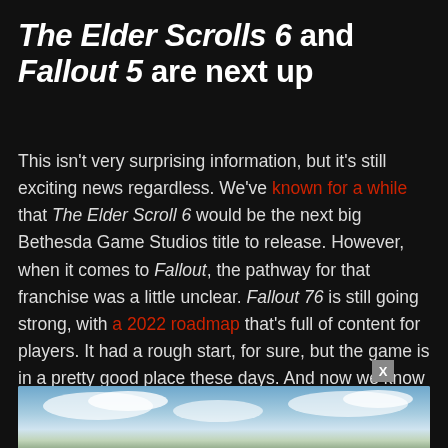The Elder Scrolls 6 and Fallout 5 are next up
This isn't very surprising information, but it's still exciting news regardless. We've known for a while that The Elder Scroll 6 would be the next big Bethesda Game Studios title to release. However, when it comes to Fallout, the pathway for that franchise was a little unclear. Fallout 76 is still going strong, with a 2022 roadmap that's full of content for players. It had a rough start, for sure, but the game is in a pretty good place these days. And now we know that Fallout 5 is planned to release sometime down the line.
[Figure (photo): Partial view of a sky scene with clouds, likely a game screenshot]